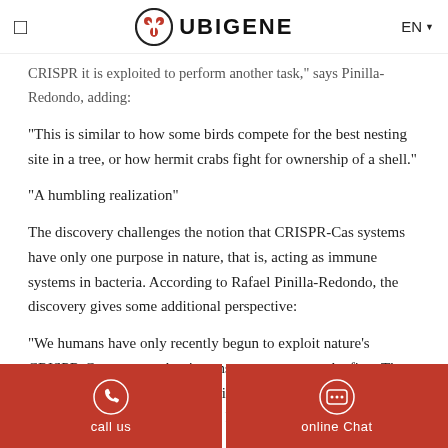UBIGENE
CRISPR it is exploited to perform another task, says Pinilla-Redondo, adding:
"This is similar to how some birds compete for the best nesting site in a tree, or how hermit crabs fight for ownership of a shell."
"A humbling realization"
The discovery challenges the notion that CRISPR-Cas systems have only one purpose in nature, that is, acting as immune systems in bacteria. According to Rafael Pinilla-Redondo, the discovery gives some additional perspective:
"We humans have only recently begun to exploit nature's CRISPR-Cas systems, but it turns out, we are not the first. These 'adaptive parasites' have been using them for millions of years, long before humans. It is quite a humbling realization."